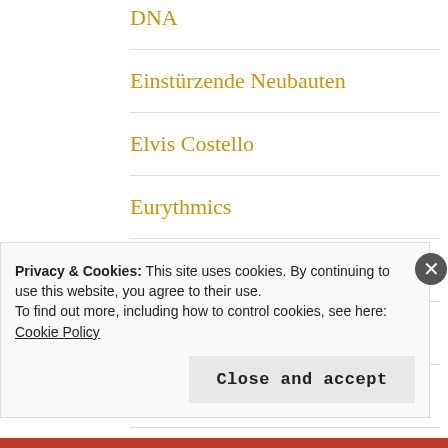DNA
Einstürzende Neubauten
Elvis Costello
Eurythmics
Fehlfarben
Fela Kuti
Film
Gang Of Four
Privacy & Cookies: This site uses cookies. By continuing to use this website, you agree to their use.
To find out more, including how to control cookies, see here: Cookie Policy
Close and accept